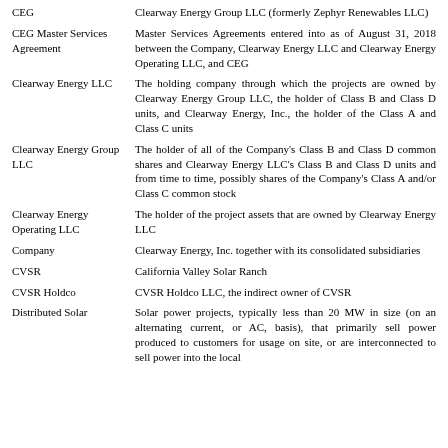| Term | Definition |
| --- | --- |
| CEG | Clearway Energy Group LLC (formerly Zephyr Renewables LLC) |
| CEG Master Services Agreement | Master Services Agreements entered into as of August 31, 2018 between the Company, Clearway Energy LLC and Clearway Energy Operating LLC, and CEG |
| Clearway Energy LLC | The holding company through which the projects are owned by Clearway Energy Group LLC, the holder of Class B and Class D units, and Clearway Energy, Inc., the holder of the Class A and Class C units |
| Clearway Energy Group LLC | The holder of all of the Company's Class B and Class D common shares and Clearway Energy LLC's Class B and Class D units and from time to time, possibly shares of the Company's Class A and/or Class C common stock |
| Clearway Energy Operating LLC | The holder of the project assets that are owned by Clearway Energy LLC |
| Company | Clearway Energy, Inc. together with its consolidated subsidiaries |
| CVSR | California Valley Solar Ranch |
| CVSR Holdco | CVSR Holdco LLC, the indirect owner of CVSR |
| Distributed Solar | Solar power projects, typically less than 20 MW in size (on an alternating current, or AC, basis), that primarily sell power produced to customers for usage on site, or are interconnected to sell power into the local |